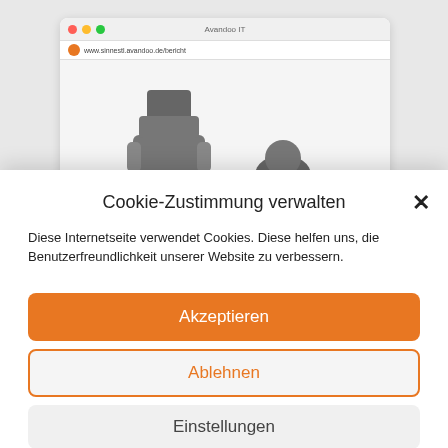[Figure (screenshot): Browser window screenshot showing a website with robot/character figures, partially obscured by the cookie consent dialog below]
Cookie-Zustimmung verwalten
Diese Internetseite verwendet Cookies. Diese helfen uns, die Benutzerfreundlichkeit unserer Website zu verbessern.
Akzeptieren
Ablehnen
Einstellungen